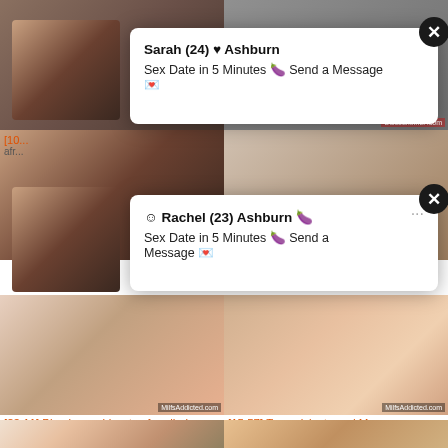[Figure (screenshot): Adult video thumbnail grid with popup ad overlays showing dating solicitations]
Sarah (24) ♥ Ashburn
Sex Date in 5 Minutes 🍆 Send a Message 💌
☺ Rachel (23) Ashburn 🍆
Sex Date in 5 Minutes 🍆 Send a Message 💌
[22:11] Big glass rubber toy for allurin…
alluring, anal, anus
[15:57] Two prick starved Mommy ny…
blowjob, dick, hardcore